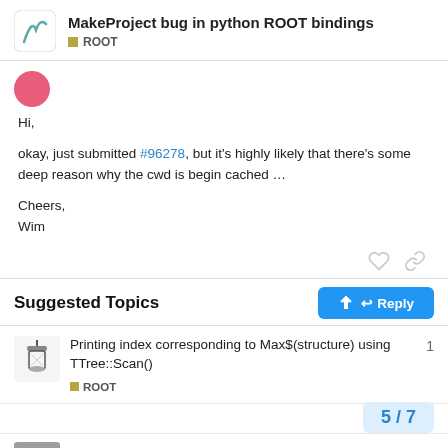MakeProject bug in python ROOT bindings — ROOT
Hi,
okay, just submitted #96278, but it's highly likely that there's some deep reason why the cwd is begin cached …
Cheers,
Wim
Suggested Topics
Printing index corresponding to Max$(structure) using TTree::Scan()
ROOT
1
5 / 7
Regression line fit